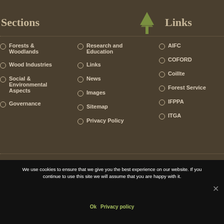Sections
Links
Forests & Woodlands
Wood Industries
Social & Environmental Aspects
Governance
Research and Education
Links
News
Images
Sitemap
Privacy Policy
AIFC
COFORD
Coillte
Forest Service
IFPPA
ITGA
We use cookies to ensure that we give you the best experience on our website. If you continue to use this site we will assume that you are happy with it.
Ok   Privacy policy